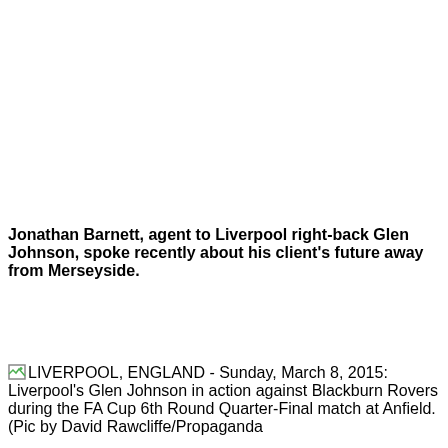Jonathan Barnett, agent to Liverpool right-back Glen Johnson, spoke recently about his client's future away from Merseyside.
LIVERPOOL, ENGLAND - Sunday, March 8, 2015: Liverpool's Glen Johnson in action against Blackburn Rovers during the FA Cup 6th Round Quarter-Final match at Anfield. (Pic by David Rawcliffe/Propaganda